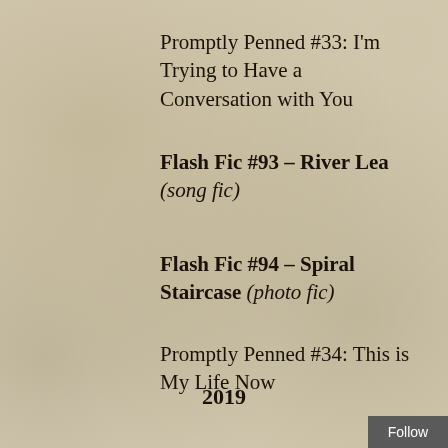Promptly Penned #33: I'm Trying to Have a Conversation with You
Flash Fic #93 – River Lea (song fic)
Flash Fic #94 – Spiral Staircase (photo fic)
Promptly Penned #34: This is My Life Now
2019
Follow